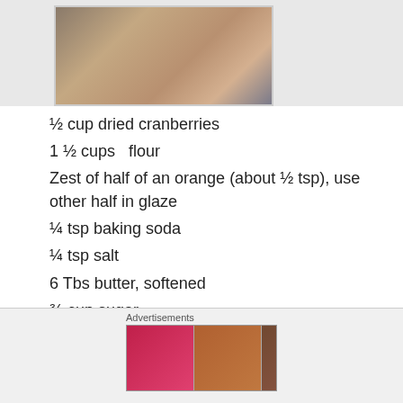[Figure (photo): Photo of baked goods (scones or cookies) on a dark background, partially visible at top of page]
½ cup dried cranberries
1 ½ cups  flour
Zest of half of an orange (about ½ tsp), use other half in glaze
¼ tsp baking soda
¼ tsp salt
6 Tbs butter, softened
¾ cup sugar
1 egg
½ tsp vanilla extract
Advertisements
[Figure (photo): Ulta beauty advertisement banner with makeup images and SHOP NOW text]